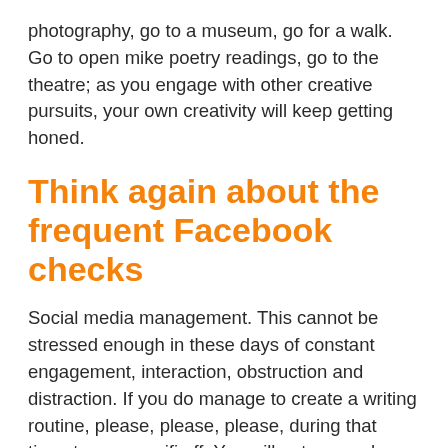photography, go to a museum, go for a walk. Go to open mike poetry readings, go to the theatre; as you engage with other creative pursuits, your own creativity will keep getting honed.
Think again about the frequent Facebook checks
Social media management. This cannot be stressed enough in these days of constant engagement, interaction, obstruction and distraction. If you do manage to create a writing routine, please, please, please, during that time, turn your wifi off. You will get so much more done without those wonderfully inviting messages from Facebook: “John Smith commented on your photo.” There will always be Facebook after your three or four hours of writing! Commit, manage,